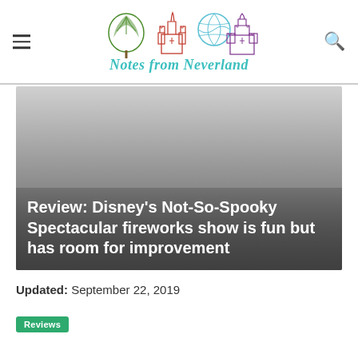Notes from Neverland
[Figure (illustration): Gray gradient hero image (likely a fireworks/night sky photo) with a dark gradient overlay at the bottom]
Review: Disney’s Not-So-Spooky Spectacular fireworks show is fun but has room for improvement
Updated: September 22, 2019
Reviews